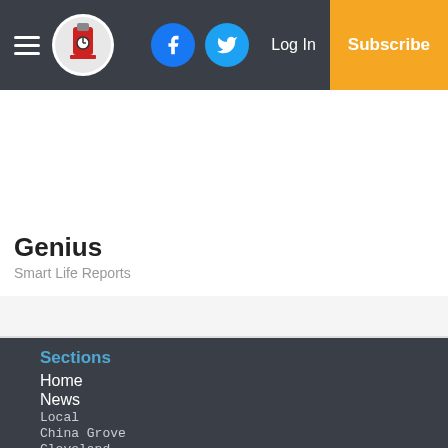Menu | Logo | Facebook | Twitter | Log In | Subscribe
Genius
Smart Life Reports
Sections
Home
News
Local
China Grove
Cleveland
Concord
East Spencer
Gold Hill
Granite Quarry
Kannapolis
Landis